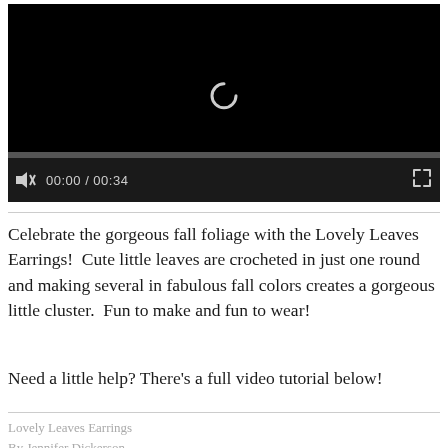[Figure (screenshot): Video player with black background showing a loading spinner (arc shape), a progress bar, and controls including mute icon, time display '00:00 / 00:34', and fullscreen button]
Celebrate the gorgeous fall foliage with the Lovely Leaves Earrings!  Cute little leaves are crocheted in just one round and making several in fabulous fall colors creates a gorgeous little cluster.  Fun to make and fun to wear!
Need a little help? There's a full video tutorial below!
Lovely Leaves Earrings
By Jennifer Dickerson